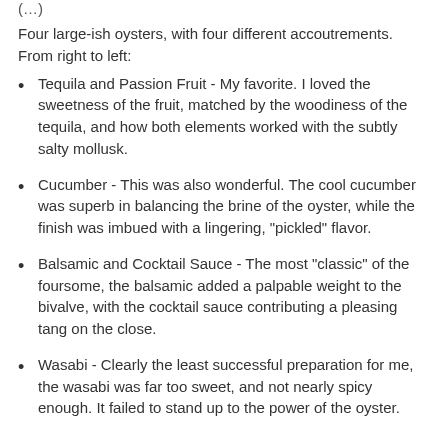(...) Four large-ish oysters, with four different accoutrements. From right to left:
Tequila and Passion Fruit - My favorite. I loved the sweetness of the fruit, matched by the woodiness of the tequila, and how both elements worked with the subtly salty mollusk.
Cucumber - This was also wonderful. The cool cucumber was superb in balancing the brine of the oyster, while the finish was imbued with a lingering, "pickled" flavor.
Balsamic and Cocktail Sauce - The most "classic" of the foursome, the balsamic added a palpable weight to the bivalve, with the cocktail sauce contributing a pleasing tang on the close.
Wasabi - Clearly the least successful preparation for me, the wasabi was far too sweet, and not nearly spicy enough. It failed to stand up to the power of the oyster.